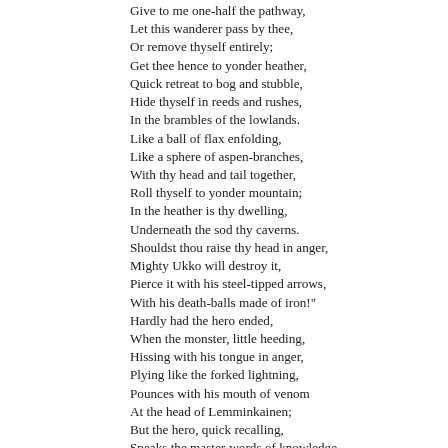Give to me one-half the pathway,
Let this wanderer pass by thee,
Or remove thyself entirely;
Get thee hence to yonder heather,
Quick retreat to bog and stubble,
Hide thyself in reeds and rushes,
In the brambles of the lowlands.
Like a ball of flax enfolding,
Like a sphere of aspen-branches,
With thy head and tail together,
Roll thyself to yonder mountain;
In the heather is thy dwelling,
Underneath the sod thy caverns.
Shouldst thou raise thy head in anger,
Mighty Ukko will destroy it,
Pierce it with his steel-tipped arrows,
With his death-balls made of iron!"
Hardly had the hero ended,
When the monster, little heeding,
Hissing with his tongue in anger,
Plying like the forked lightning,
Pounces with his mouth of venom
At the head of Lemminkainen;
But the hero, quick recalling,
Speaks the master-words of knowledge